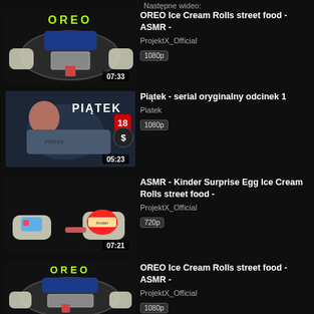Następne wideo:
[Figure (screenshot): Video thumbnail: OREO Ice Cream Rolls with gloved hands and scraper on pan, duration 07:33]
OREO Ice Cream Rolls street food - ASMR -
ProjektX_Official
1080p
[Figure (screenshot): Video thumbnail: Man lying down with PIATEK text and 18+ age rating badge and dollar sign, duration 05:23]
Piątek - serial oryginalny odcinek 1
Piatek
1080p
[Figure (screenshot): Video thumbnail: Kinder Surprise Egg in gloved hands with scraper, duration 07:21]
ASMR - Kinder Surprise Egg Ice Cream Rolls street food -
ProjektX_Official
720p
[Figure (screenshot): Video thumbnail: OREO Ice Cream Rolls with gloved hands and scraper on pan, partial view]
OREO Ice Cream Rolls street food - ASMR -
ProjektX_Official
1080p